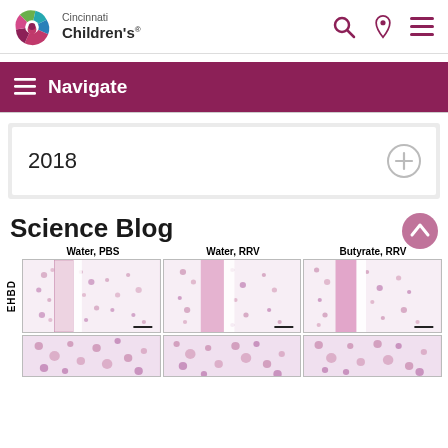[Figure (logo): Cincinnati Children's hospital logo with colorful circular icon and text]
[Figure (screenshot): Navigation bar with search, location, and menu icons]
≡  Navigate
2018
Science Blog
[Figure (photo): Three microscopy images labeled Water PBS, Water RRV, Butyrate RRV showing EHBD tissue sections, plus partial second row]